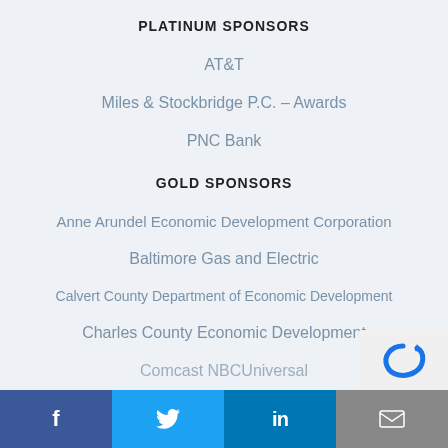PLATINUM SPONSORS
AT&T
Miles & Stockbridge P.C. – Awards
PNC Bank
GOLD SPONSORS
Anne Arundel Economic Development Corporation
Baltimore Gas and Electric
Calvert County Department of Economic Development
Charles County Economic Development
Comcast NBCUniversal
f  [Twitter]  in  [email]